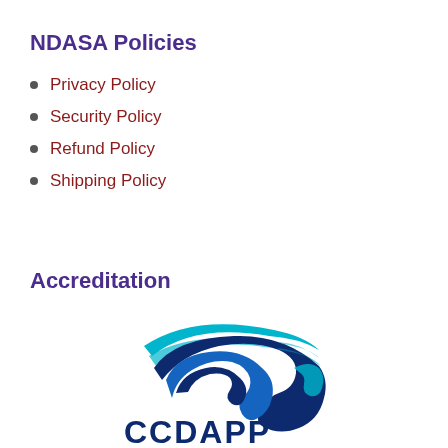NDASA Policies
Privacy Policy
Security Policy
Refund Policy
Shipping Policy
Accreditation
[Figure (logo): CCDAPP logo with blue swoosh/wave design above the text CCDAPP in dark navy blue]